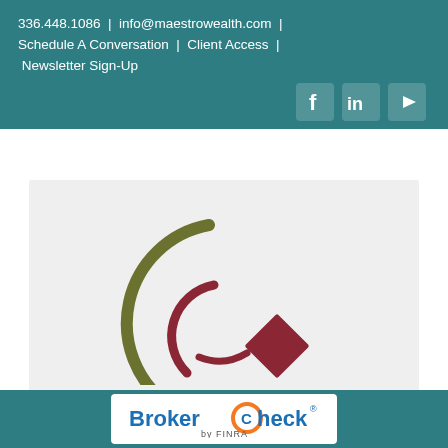336.448.1086  |  info@maestrowealth.com  |  Schedule A Conversation  |  Client Access  |  Newsletter Sign-Up
[Figure (logo): Social media icons: Facebook (f), LinkedIn (in), YouTube (play button) — white icons on teal background]
[Figure (logo): Maestro Wealth logo: olive green arc and smaller dark red arc forming a stylized C/parenthesis shape, with a dark red diamond shape to the right]
[Figure (other): Hamburger menu icon (three horizontal lines)]
[Figure (logo): BrokerCheck by FINRA logo — blue text 'BrokerCheck' with orange C, subtitle 'by FINRA' in small text, on white background within teal footer bar]